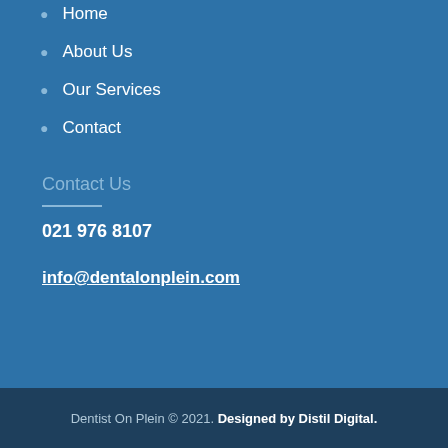Home
About Us
Our Services
Contact
Contact Us
021 976 8107
info@dentalonplein.com
Dentist On Plein © 2021. Designed by Distil Digital.